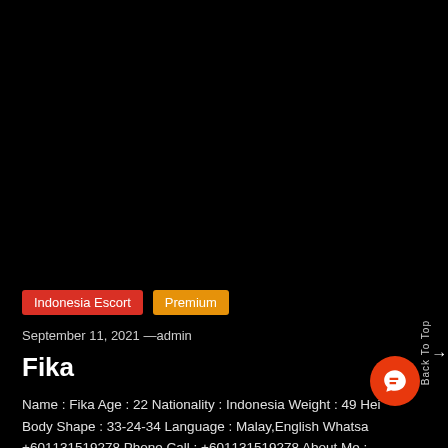Indonesia Escort   Premium
September 11, 2021 —admin
Fika
Name : Fika Age : 22 Nationality : Indonesia Weight : 49 Hei… Body Shape : 33-24-34 Language : Malay,English Whatsa… +601131519278 Phone Call : +601131519278 About Me : Please with…